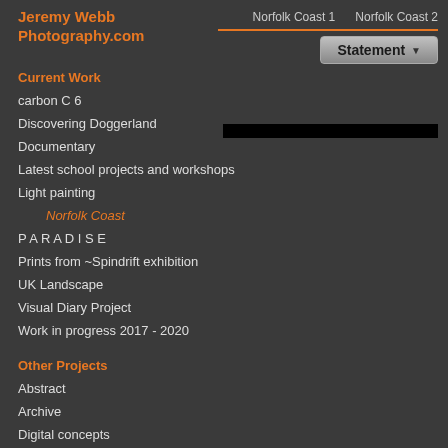Jeremy Webb Photography.com
Norfolk Coast 1   Norfolk Coast 2
Statement
Current Work
carbon C 6
Discovering Doggerland
Documentary
Latest school projects and workshops
Light painting
Norfolk Coast
P A R A D I S E
Prints from ~Spindrift exhibition
UK Landscape
Visual Diary Project
Work in progress 2017 - 2020
Other Projects
Abstract
Archive
Digital concepts
Faces
Found Photography 1
Found Photography 2